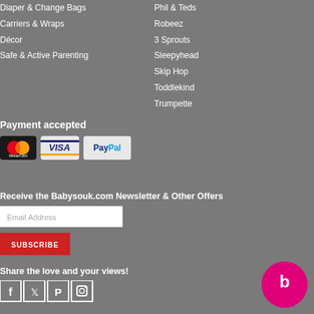Diaper & Change Bags
Carriers & Wraps
Décor
Safe & Active Parenting
Phil & Teds
Robeez
3 Sprouts
Sleepyhead
Skip Hop
Toddlekind
Trumpette
Payment accepted
[Figure (logo): Payment icons: MasterCard, VISA, PayPal]
Receive the Babysouk.com Newsletter & Other Offers
[Figure (screenshot): Email address input field and SUBSCRIBE button]
Share the love and your views!
[Figure (logo): Social media icons: Facebook, Twitter, Pinterest, Instagram]
[Figure (logo): Babysouk circular logo, pink with white 'b' letter]